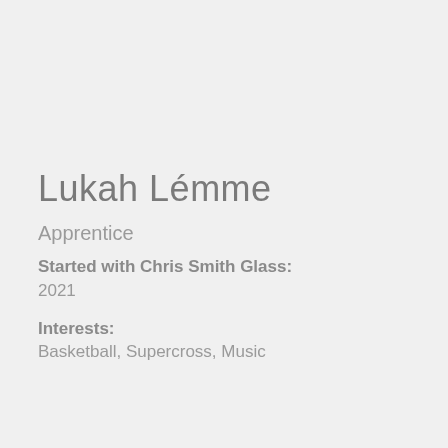Lukah Lémme
Apprentice
Started with Chris Smith Glass: 2021
Interests: Basketball, Supercross, Music